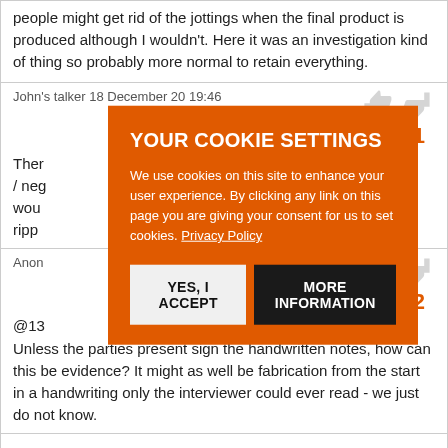people might get rid of the jottings when the final product is produced although I wouldn't. Here it was an investigation kind of thing so probably more normal to retain everything.
John's talker 18 December 20 19:46
71
There ... eting / neg... wou... y ripp...
Anon...
82
@13...
Unless the parties present sign the handwritten notes, how can this be evidence? It might as well be fabrication from the start in a handwriting only the interviewer could ever read - we just do not know.
[Figure (other): Cookie consent modal overlay on orange background with title YOUR COOKIE SETTINGS, body text about cookies, Privacy Policy link, YES I ACCEPT button and MORE INFORMATION button]
...